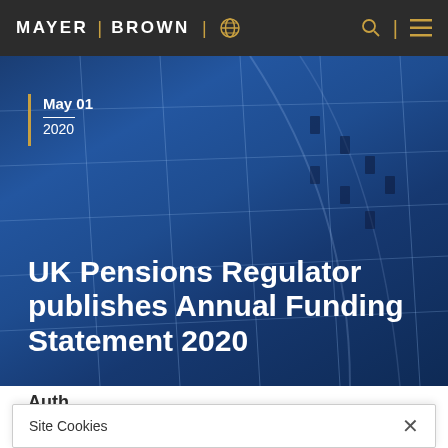MAYER | BROWN
[Figure (screenshot): Mayer Brown website header with logo, globe icon, search icon, and hamburger menu on dark background]
May 01
2020
UK Pensions Regulator publishes Annual Funding Statement 2020
Auth...
Site Cookies